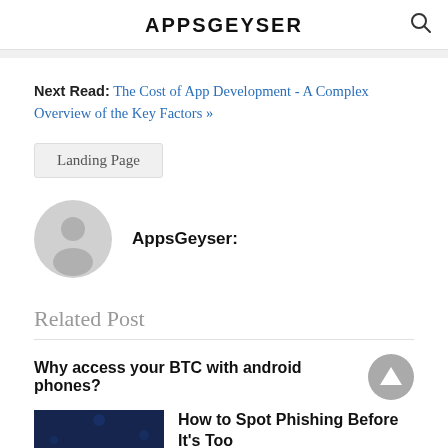APPSGEYSER
Next Read: The Cost of App Development - A Complex Overview of the Key Factors »
Landing Page
AppsGeyser:
Related Post
Why access your BTC with android phones?
How to Spot Phishing Before It's Too